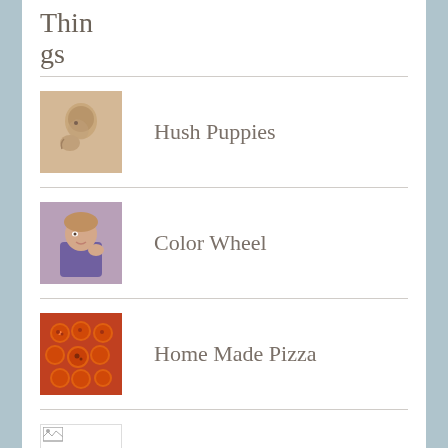Things
Hush Puppies
Color Wheel
Home Made Pizza
Make Those Calls